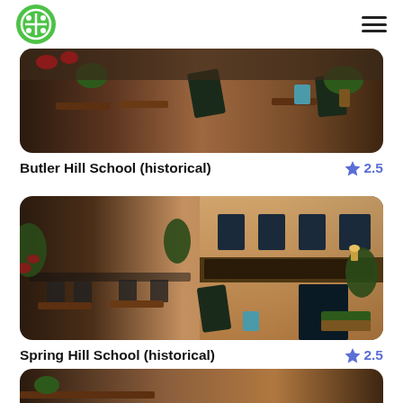logo and hamburger menu
[Figure (photo): Outdoor cafe/restaurant scene with wooden tables, chairs, chalkboard sign, and potted plants. Warm tones, brick/stone building.]
Butler Hill School (historical)
★ 2.5
[Figure (photo): Outdoor restaurant terrace with metal chairs and tables, plants, chalkboard menu sign, stone building facade, warm afternoon lighting.]
Spring Hill School (historical)
★ 2.5
[Figure (photo): Third location card image, partially visible at bottom of page.]